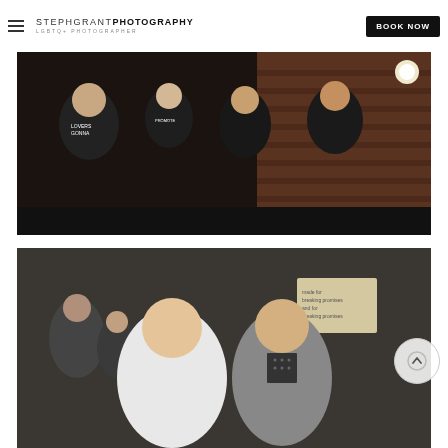STEPHGRANT PHOTOGRAPHY — LGBTQ+ PHOTOGRAPHER | BOOK NOW
[Figure (photo): Four people posing together outdoors at night against a brick wall. They are wearing dark t-shirts with text on them including 'Lovers Gonna' and 'Promote'. One person holds a blue drink bottle.]
[Figure (photo): Two women smiling closely together at an indoor event. One wears a white blazer, the other a grey blazer. Background shows other guests and a sign on the wall.]